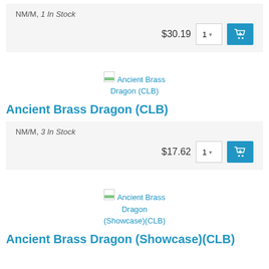NM/M, 1 In Stock
$30.19  1 ▾  [add to cart]
[Figure (screenshot): Ancient Brass Dragon (CLB) product image thumbnail link]
Ancient Brass Dragon (CLB)
NM/M, 3 In Stock
$17.62  1 ▾  [add to cart]
[Figure (screenshot): Ancient Brass Dragon (Showcase)(CLB) product image thumbnail link]
Ancient Brass Dragon (Showcase)(CLB)